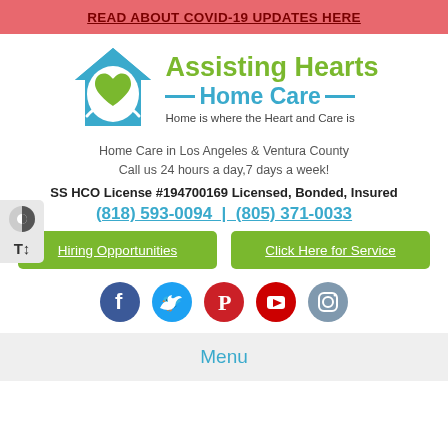READ ABOUT COVID-19 UPDATES HERE
[Figure (logo): Assisting Hearts Home Care logo: blue house silhouette with green heart and hands, green text 'Assisting Hearts' and blue text 'Home Care' with decorative lines, tagline 'Home is where the Heart and Care is']
Home Care in Los Angeles & Ventura County
Call us 24 hours a day,7 days a week!
SS HCO License #194700169 Licensed, Bonded, Insured
(818) 593-0094 | (805) 371-0033
Hiring Opportunities
Click Here for Service
[Figure (illustration): Social media icons row: Facebook (blue circle), Twitter (light blue circle), Pinterest (red circle with P), YouTube (red circle with play button), Instagram (grey-blue circle)]
Menu